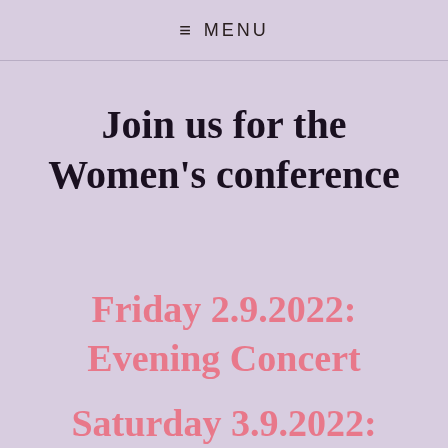≡ MENU
Join us for the Women's conference
Friday 2.9.2022: Evening Concert Saturday 3.9.2022: